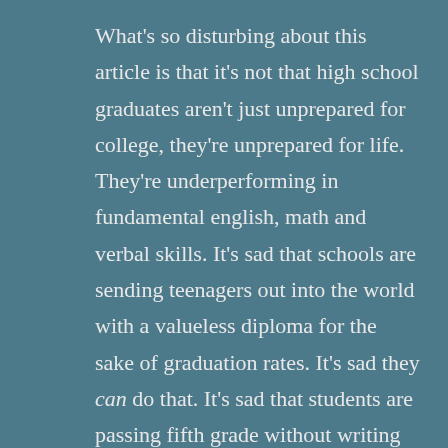What's so disturbing about this article is that it's not that high school graduates aren't just unprepared for college, they're unprepared for life. They're underperforming in fundamental english, math and verbal skills. It's sad that schools are sending teenagers out into the world with a valueless diploma for the sake of graduation rates. It's sad they can do that. It's sad that students are passing fifth grade without writing clear, coherent sentences